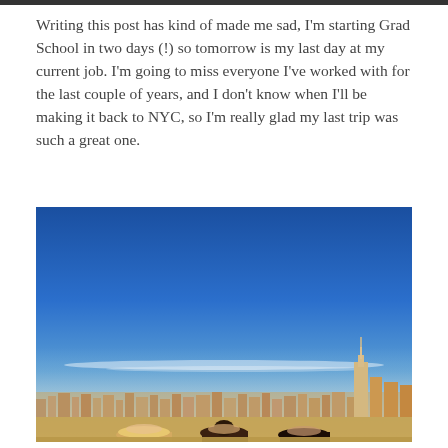Writing this post has kind of made me sad, I'm starting Grad School in two days (!) so tomorrow is my last day at my current job. I'm going to miss everyone I've worked with for the last couple of years, and I don't know when I'll be making it back to NYC, so I'm really glad my last trip was such a great one.
[Figure (photo): Outdoor photo of three young women standing in front of a New York City skyline under a bright blue sky. The Empire State Building is visible on the right side of the skyline.]